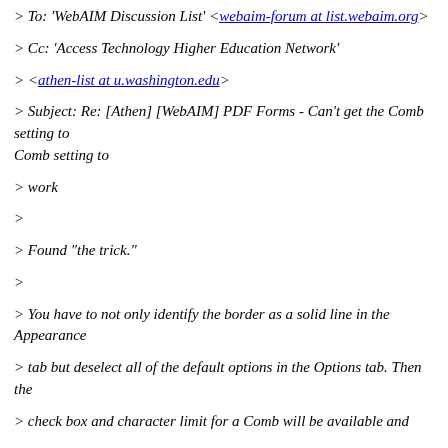> To: 'WebAIM Discussion List' <webaim-forum at list.webaim.org>
> Cc: 'Access Technology Higher Education Network'
> <athen-list at u.washington.edu>
> Subject: Re: [Athen] [WebAIM] PDF Forms - Can't get the Comb setting to
> work
>
> Found "the trick."
>
> You have to not only identify the border as a solid line in the Appearance
> tab but deselect all of the default options in the Options tab. Then the
> check box and character limit for a Comb will be available and